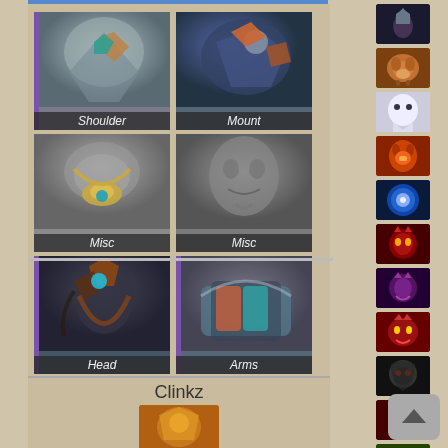[Figure (screenshot): Dota 2 cosmetic item loadout screen showing a hero's equipped items: Shoulder (not tradeable), Mount (not tradeable), two Misc slots (n/a), Head (not tradeable), Arms (not tradeable), and a weapon item (not tradeable). Below is a Clinkz hero section with hero portrait. Right sidebar shows a vertical list of hero icons/avatars.]